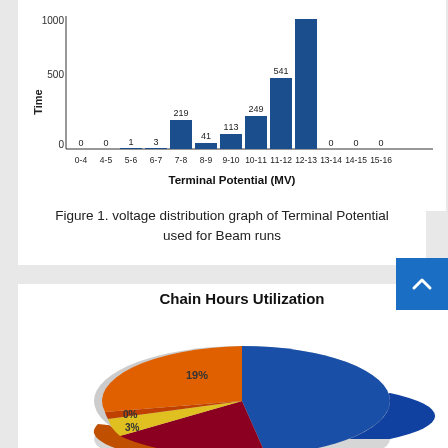[Figure (histogram): Terminal Potential (MV)]
Figure 1. voltage distribution graph of Terminal Potential used for Beam runs
[Figure (pie-chart): Chain Hours Utilization]